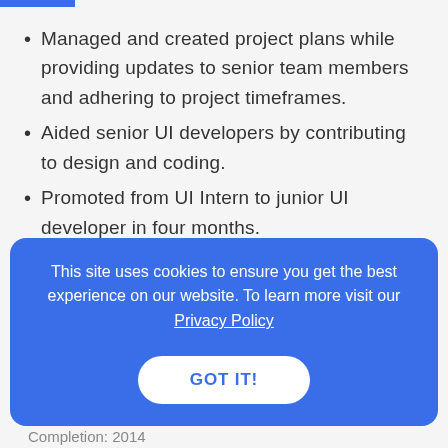Managed and created project plans while providing updates to senior team members and adhering to project timeframes.
Aided senior UI developers by contributing to design and coding.
Promoted from UI Intern to junior UI developer in four months.
This site uses cookies to ensure you get the best experience on our website. To learn more visit our Privacy Policy
GOT IT!
Completion: 2014